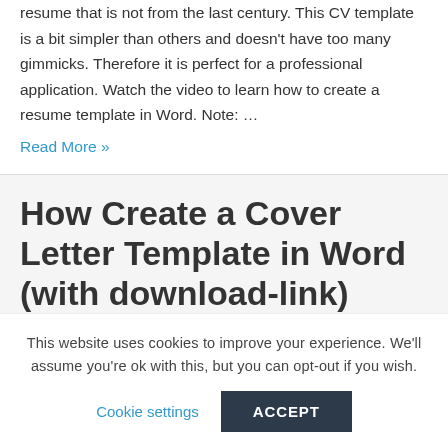resume that is not from the last century. This CV template is a bit simpler than others and doesn't have too many gimmicks. Therefore it is perfect for a professional application. Watch the video to learn how to create a resume template in Word. Note: …
Read More »
How Create a Cover Letter Template in Word (with download-link)
This website uses cookies to improve your experience. We'll assume you're ok with this, but you can opt-out if you wish.
Cookie settings
ACCEPT